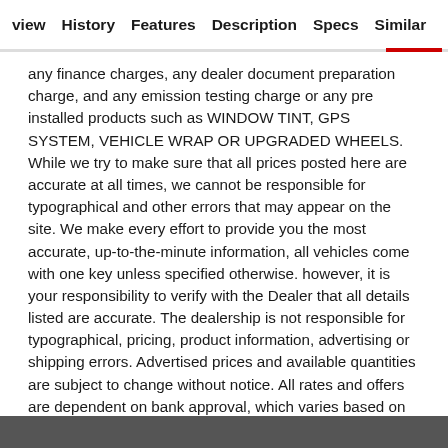view  History  Features  Description  Specs  Similar
any finance charges, any dealer document preparation charge, and any emission testing charge or any pre installed products such as WINDOW TINT, GPS SYSTEM, VEHICLE WRAP OR UPGRADED WHEELS. While we try to make sure that all prices posted here are accurate at all times, we cannot be responsible for typographical and other errors that may appear on the site. We make every effort to provide you the most accurate, up-to-the-minute information, all vehicles come with one key unless specified otherwise. however, it is your responsibility to verify with the Dealer that all details listed are accurate. The dealership is not responsible for typographical, pricing, product information, advertising or shipping errors. Advertised prices and available quantities are subject to change without notice. All rates and offers are dependent on bank approval, which varies based on applicant's credit as well as the vehicle.